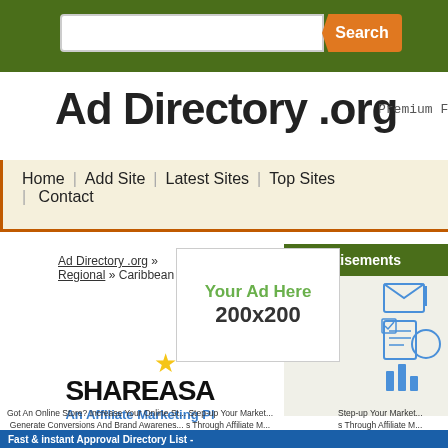[Figure (screenshot): Green header bar with search input box and orange Search button]
Ad Directory .org
Premium Free Web Di
Home | Add Site | Latest Sites | Top Sites | Contact
Ad Directory .org » Regional » Caribbean
Advertisements
[Figure (infographic): Marketing icons illustration on right side of ads panel]
[Figure (infographic): Your Ad Here 200x200 placeholder advertisement box]
[Figure (infographic): ShareASale star logo and An Affiliate Marketing Platform banner ad]
Got An Online Store? Increase Your Online St... Step-up Your Market... Generate Conversions And Brand Awarenes... s Through Affiliate M... Marketers. Get Signed Up And Get Set Up Upon Approval. The Signup Form For...
Fast & instant Approval Directory List -